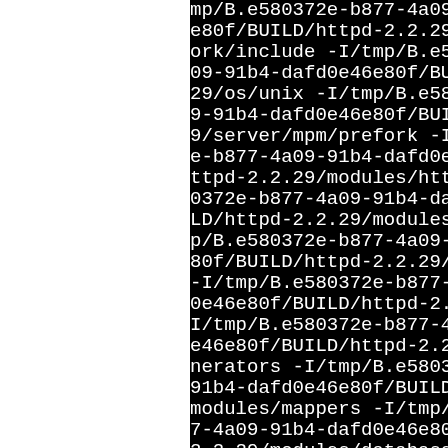mp/B.e580372e-b877-4a09-91b4-dafd0e46e80f/BUILD/httpd-2.2.29/build-framework/include -I/tmp/B.e580372e-b877-4a09-91b4-dafd0e46e80f/BUILD/httpd-2.2.29/os/unix -I/tmp/B.e580372e-b877-4a09-91b4-dafd0e46e80f/BUILD/httpd-2.2.29/server/mpm/prefork -I/tmp/B.e580372e-b877-4a09-91b4-dafd0e46e80f/BUILD/httpd-2.2.29/modules/http -I/tmp/B.e580372e-b877-4a09-91b4-dafd0e46e80f/BUILD/httpd-2.2.29/modules/filters -I/tmp/B.e580372e-b877-4a09-91b4-dafd0e46e80f/BUILD/httpd-2.2.29/modules -I/tmp/B.e580372e-b877-4a09-91b4-dafd0e46e80f/BUILD/httpd-2.2.29/modules/generators -I/tmp/B.e580372e-b877-4a09-91b4-dafd0e46e80f/BUILD/httpd-2.2.29/modules/mappers -I/tmp/B.e580372e-b877-4a09-91b4-dafd0e46e80f/BUILD/httpd-2.2.29/modules/database -I/usr/include/apr-util -I/usr/include/apr include -I/tmp/B.e580372e